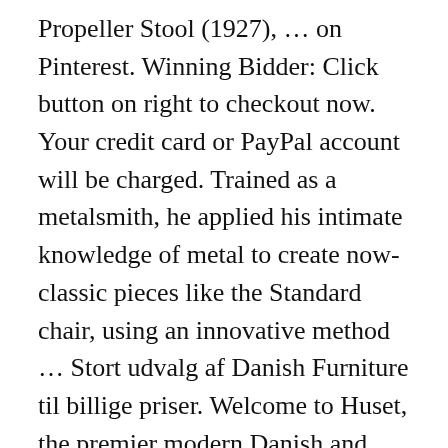Propeller Stool (1927), … on Pinterest. Winning Bidder: Click button on right to checkout now. Your credit card or PayPal account will be charged. Trained as a metalsmith, he applied his intimate knowledge of metal to create now-classic pieces like the Standard chair, using an innovative method … Stort udvalg af Danish Furniture til billige priser. Welcome to Huset, the premier modern Danish and Scandinavian furniture design store. … House of Design - Offers a range of Danish design furniture from around 1930-1970. From shop Bell40Shop. Danish Furniture Ranges. They all look to … 1961), crafted in molded, laminated plywood and leather upholstery. . Danish Modern Chair Repair. Danish Rubber. Strap Steel Loop Sprint